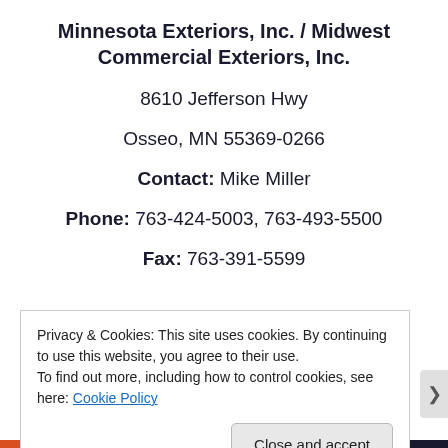Minnesota Exteriors, Inc. / Midwest Commercial Exteriors, Inc.
8610 Jefferson Hwy
Osseo, MN 55369-0266
Contact: Mike Miller
Phone: 763-424-5003, 763-493-5500
Fax: 763-391-5599
Privacy & Cookies: This site uses cookies. By continuing to use this website, you agree to their use.
To find out more, including how to control cookies, see here: Cookie Policy
Close and accept